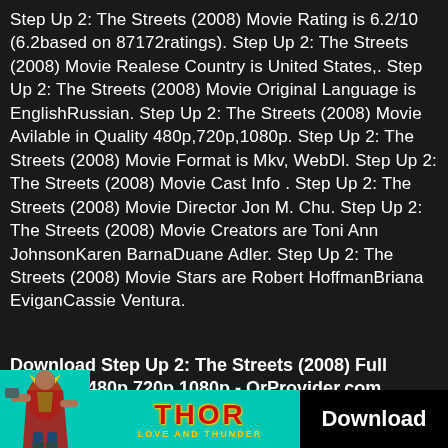Step Up 2: The Streets (2008) Movie Rating is 6.2/10 (6.2based on 87172ratings). Step Up 2: The Streets (2008) Movie Realese Country is United States,. Step Up 2: The Streets (2008) Movie Original Language is EnglishRussian. Step Up 2: The Streets (2008) Movie Avilable in Quality 480p,720p,1080p. Step Up 2: The Streets (2008) Movie Format is Mkv, WebDl. Step Up 2: The Streets (2008) Movie Cast Info . Step Up 2: The Streets (2008) Movie Director Jon M. Chu. Step Up 2: The Streets (2008) Movie Creators are Toni Ann JohnsonKaren BarnaDuane Adler. Step Up 2: The Streets (2008) Movie Stars are Robert HoffmanBriana EviganCassie Ventura.
Download Step Up 2: The Streets (2008) Full Movie in 480p 720p 1080p - OrProvider.com
[Figure (illustration): Advertisement banner for Thor: Love and Thunder movie download. Shows Thor character figure on left against teal background, Thor Love and Thunder logo in center, and a black Download button on the right.]